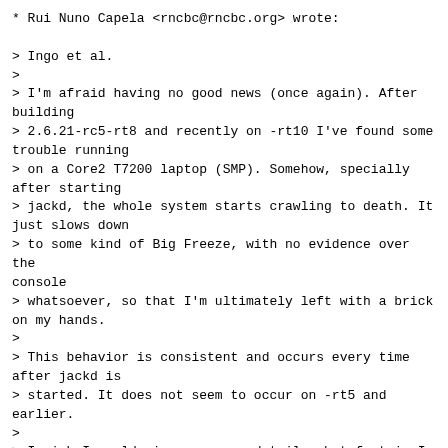* Rui Nuno Capela <rncbc@rncbc.org> wrote:

> Ingo et al.
>
> I'm afraid having no good news (once again). After building
> 2.6.21-rc5-rt8 and recently on -rt10 I've found some trouble running
> on a Core2 T7200 laptop (SMP). Somehow, specially after starting
> jackd, the whole system starts crawling to death. It just slows down
> to some kind of Big Freeze, with no evidence over the console
> whatsoever, so that I'm ultimately left with a brick on my hands.
>
> This behavior is consistent and occurs every time after jackd is
> started. It does not seem to occur on -rt5 and earlier.
>
> I wish I could give you more details, but fact is I don't know where
> to look. The machine just freezes silently.

could you try rt11 (which fixes two bad bugs in rt10)? If rt11 freezes
too then could you try to unapply the attached patch?